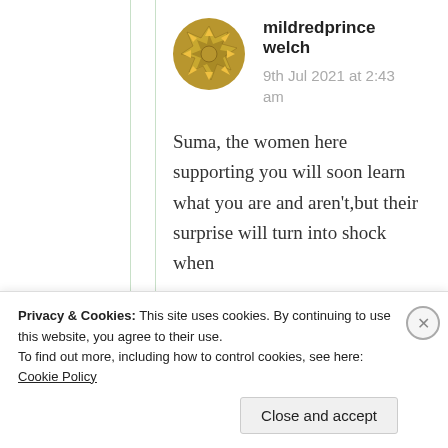[Figure (logo): Golden/olive colored star-like avatar icon for user mildredprincewelch]
mildredprince welch
9th Jul 2021 at 2:43 am
Suma, the women here supporting you will soon learn what you are and aren't,but their surprise will turn into shock when
Privacy & Cookies: This site uses cookies. By continuing to use this website, you agree to their use.
To find out more, including how to control cookies, see here: Cookie Policy
Close and accept